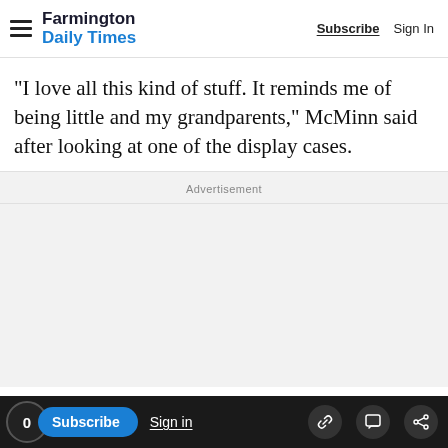Farmington Daily Times | Subscribe | Sign In
"I love all this kind of stuff. It reminds me of being little and my grandparents," McMinn said after looking at one of the display cases.
Advertisement
[Figure (other): Advertisement placeholder area (blank grey box)]
0 | Subscribe | Sign in